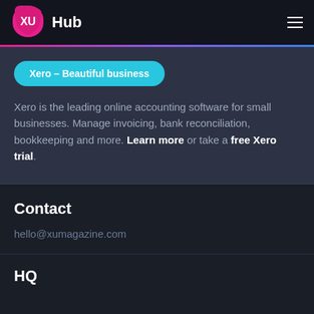XU Hub
[Figure (logo): XU Hub logo with pink circle and white XU letters, followed by Hub text]
Xero – Beautiful business
Xero is the leading online accounting software for small businesses. Manage invoicing, bank reconciliation, bookkeeping and more. Learn more or take a free Xero trial.
Contact
hello@xumagazine.com
HQ